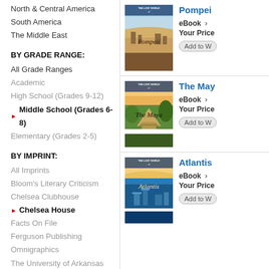North & Central America
South America
The Middle East
BY GRADE RANGE:
All Grade Ranges
Academic
High School (Grades 9-12)
▶ Middle School (Grades 6-8)
Elementary (Grades 2-5)
BY IMPRINT:
All Imprints
Bloom's Literary Criticism
Chelsea Clubhouse
▶ Chelsea House
Facts On File
Ferguson Publishing
Omnigraphics
The University of Arkansas Press
University of California Press
University Press of Mississippi
[Figure (illustration): Book cover: The Lost World - Pompeii, showing ancient ruins and landscape]
Pompeii
eBook  ›
Your Price
Add to W
[Figure (illustration): Book cover: The Lost World - The Maya, showing Mayan temple in jungle]
The May
eBook  ›
Your Price
Add to W
[Figure (illustration): Book cover: The Lost World - Atlantis, showing underwater ruins and ocean]
Atlantis
eBook  ›
Your Price
Add to W